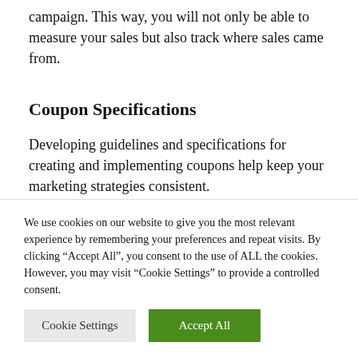campaign. This way, you will not only be able to measure your sales but also track where sales came from.
Coupon Specifications
Developing guidelines and specifications for creating and implementing coupons help keep your marketing strategies consistent.
We use cookies on our website to give you the most relevant experience by remembering your preferences and repeat visits. By clicking "Accept All", you consent to the use of ALL the cookies. However, you may visit "Cookie Settings" to provide a controlled consent.